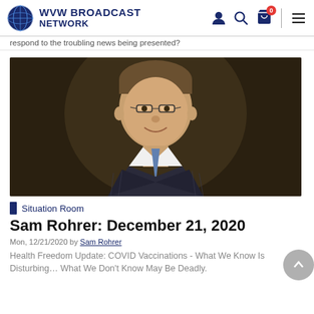WVW BROADCAST NETWORK
respond to the troubling news being presented?
[Figure (photo): Professional headshot of Sam Rohrer, a middle-aged man wearing glasses, a dark pinstripe suit jacket, white shirt, and blue tie, smiling at the camera against a dark background.]
Situation Room
Sam Rohrer: December 21, 2020
Mon, 12/21/2020 by Sam Rohrer
Health Freedom Update: COVID Vaccinations - What We Know Is Disturbing… What We Don't Know May Be Deadly.